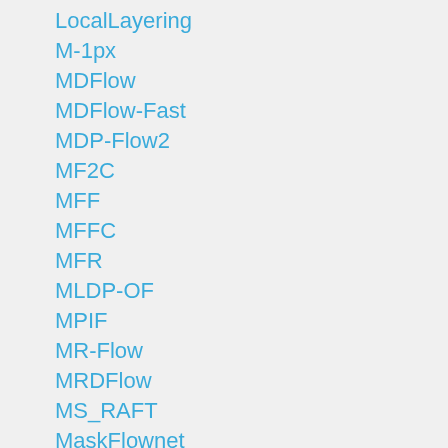LocalLayering
M-1px
MDFlow
MDFlow-Fast
MDP-Flow2
MF2C
MFF
MFFC
MFR
MLDP-OF
MPIF
MR-Flow
MRDFlow
MS_RAFT
MaskFlownet
MaskFlownet-S
MirrorFlow
Model_model